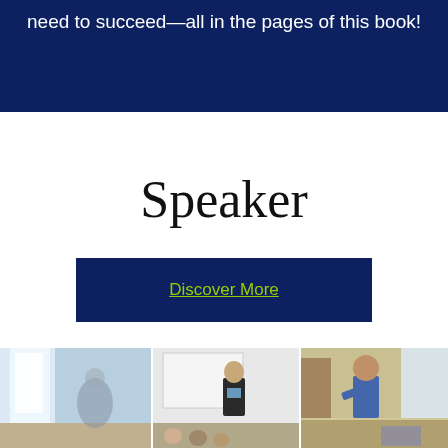need to succeed—all in the pages of this book!
Speaker
Discover More
[Figure (photo): Three photos of a speaker presenting to audiences in conference/seminar settings. Left photo shows a bright room interior. Center photo shows a man in a dark jacket speaking at a whiteboard with audience in front. Right photo shows a man in a blue jacket speaking in a room with windows.]